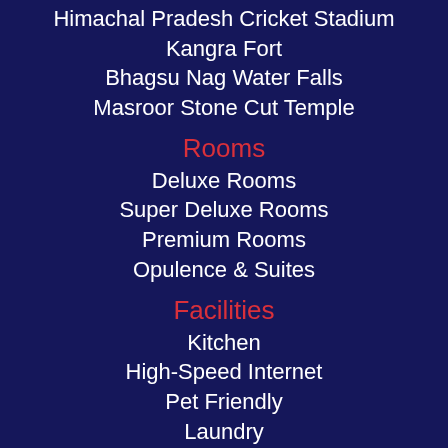Himachal Pradesh Cricket Stadium
Kangra Fort
Bhagsu Nag Water Falls
Masroor Stone Cut Temple
Rooms
Deluxe Rooms
Super Deluxe Rooms
Premium Rooms
Opulence & Suites
Facilities
Kitchen
High-Speed Internet
Pet Friendly
Laundry
Gym
Library
In-Door Games
Open Part Terrace